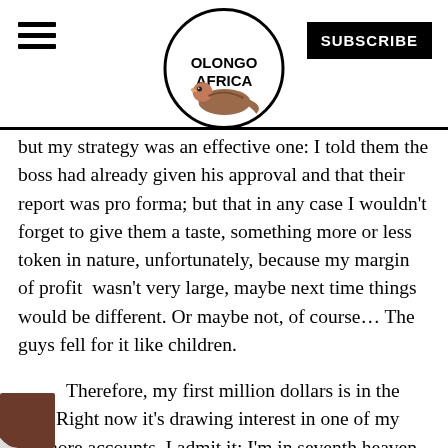OLONGO AFRICA [logo with bird] SUBSCRIBE
but my strategy was an effective one: I told them the boss had already given his approval and that their report was pro forma; but that in any case I wouldn't forget to give them a taste, something more or less token in nature, unfortunately, because my margin of profit  wasn't very large, maybe next time things would be different. Or maybe not, of course… The guys fell for it like children.
Therefore, my first million dollars is in the bag. Right now it's drawing interest in one of my offshore accounts. I admit it: I'm in seventh heaven. The thing now is to keep on ascending.
There's only one thing that bothers me. The jealous ons of bitches, especially the reporters, don't give up. latest invention is that I gave one hell of a bash, to